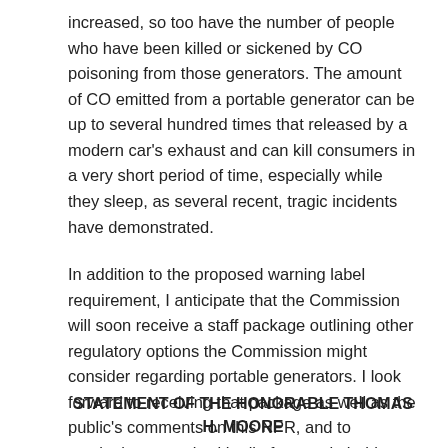increased, so too have the number of people who have been killed or sickened by CO poisoning from those generators. The amount of CO emitted from a portable generator can be up to several hundred times that released by a modern car's exhaust and can kill consumers in a very short period of time, especially while they sleep, as several recent, tragic incidents have demonstrated.
In addition to the proposed warning label requirement, I anticipate that the Commission will soon receive a staff package outlining other regulatory options the Commission might consider regarding portable generators. I look forward to receiving that package as well as the public's comments on this NPR, and to continuing to work with all of our stakeholders on this important issue.
STATEMENT OF THE HONORABLE THOMAS H. MOORE